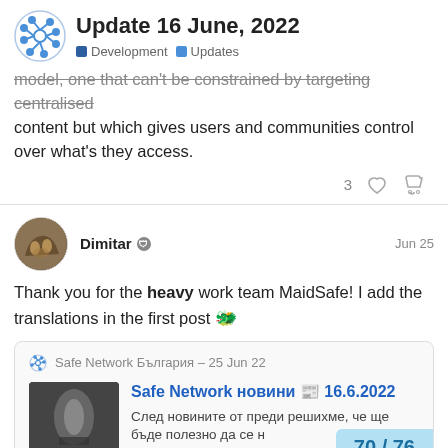Update 16 June, 2022 | Development | Updates
model, one that can't be constrained by targeting centralised content but which gives users and communities control over what's they access.
3 ♡ 🔗
Dimitar  Jun 25
Thank you for the heavy work team MaidSafe! I add the translations in the first post 🐉
Safe Network България – 25 Jun 22
Safe Network новини 📰 16.6.2022
След новините от преди решихме, че ще бъде полезно да се н
70 / 76